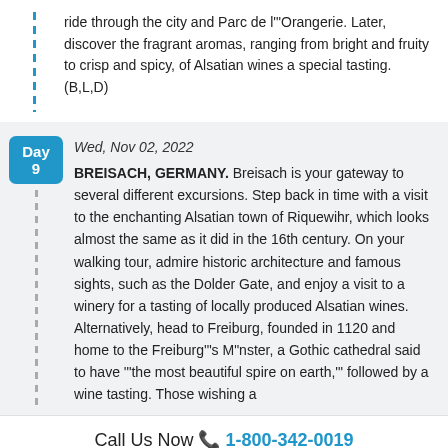ride through the city and Parc de l'"Orangerie. Later, discover the fragrant aromas, ranging from bright and fruity to crisp and spicy, of Alsatian wines a special tasting. (B,L,D)
Day 9 — Wed, Nov 02, 2022 — BREISACH, GERMANY. Breisach is your gateway to several different excursions. Step back in time with a visit to the enchanting Alsatian town of Riquewihr, which looks almost the same as it did in the 16th century. On your walking tour, admire historic architecture and famous sights, such as the Dolder Gate, and enjoy a visit to a winery for a tasting of locally produced Alsatian wines. Alternatively, head to Freiburg, founded in 1120 and home to the Freiburg'"s M"nster, a Gothic cathedral said to have '"the most beautiful spire on earth,'" followed by a wine tasting. Those wishing a
Call Us Now 📞 1-800-342-0019